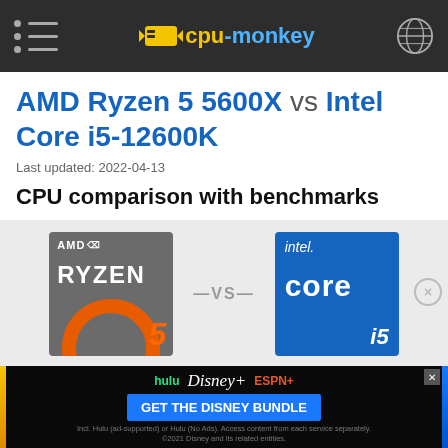cpu-monkey
AMD Ryzen 5 5600X vs Intel Core i5-12600K
Last updated: 2022-04-13
CPU comparison with benchmarks
[Figure (infographic): AMD Ryzen 5 logo badge on the left, —VS— in the center, Intel Core i5 logo badge on the right]
AMD ... Core i5-
[Figure (infographic): Disney Bundle advertisement banner: hulu, Disney+, ESPN+, GET THE DISNEY BUNDLE]